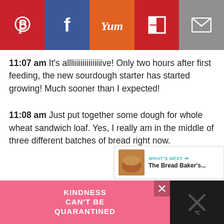[Figure (infographic): Social sharing bar with Pinterest (red), Facebook (blue), Yummly (orange), Flipboard (red), and Email (gray) buttons with icons]
11:07 am It's allliiiiiiiiiiiiiiive! Only two hours after first feeding, the new sourdough starter has started growing! Much sooner than I expected!
11:08 am Just put together some dough for whole wheat sandwich loaf. Yes, I really am in the middle of three different batches of bread right now.
[Figure (infographic): Teal heart/like button showing 1 like, and a share button below]
[Figure (infographic): What's Next promo bar with bread thumbnail and text 'The Bread Baker's...']
[Figure (infographic): Pink advertisement banner reading KINDNESS CAN'T BE QUARANTINED with close button and dark right side]